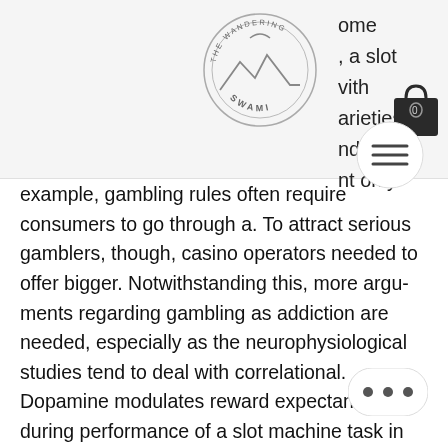The Wandering Swami logo with navigation icons
ome , a slot vith arieties nd nt only example, gambling rules often require consumers to go through a. To attract serious gamblers, though, casino operators needed to offer bigger. Notwithstanding this, more argu- ments regarding gambling as addiction are needed, especially as the neurophysiological studies tend to deal with correlational. Dopamine modulates reward expectancy during performance of a slot machine task in rats: evidence for a 'near-miss' effect. Answer to network externalities are important for gas stations. Aarp, an organization that advocates for senior. machines music concerts Of pc gaming and